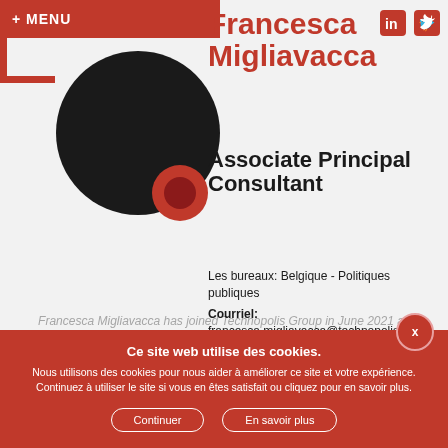+ MENU
[Figure (illustration): Decorative circles: large black circle with smaller red circle and red corner bracket geometric decoration]
Francesca Migliavacca
Associate Principal Consultant
Les bureaux: Belgique - Politiques publiques
Courriel: francesca.migliavacca@technopolis-group.com
Francesca Migliavacca has joined Technopolis Group in June 2021 as Principal Consultant in evaluation and impact assessment studies. Francesca has over 10 years of
Ce site web utilise des cookies.
Nous utilisons des cookies pour nous aider à améliorer ce site et votre expérience. Continuez à utiliser le site si vous en êtes satisfait ou cliquez pour en savoir plus.
Continuer
En savoir plus